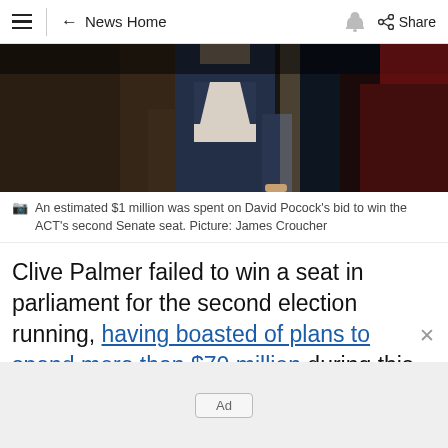News Home | Share
[Figure (photo): A person in a dark jacket and light shirt standing indoors, partially cropped photo]
An estimated $1 million was spent on David Pocock's bid to win the ACT's second Senate seat. Picture: James Croucher
Clive Palmer failed to win a seat in parliament for the second election running, having boasted of plans to spend more than $70 million during this year's campaign.